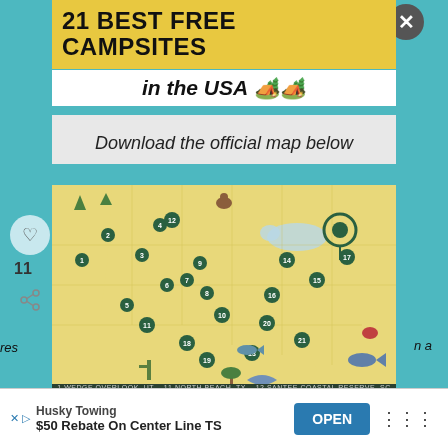21 BEST FREE CAMPSITES
in the USA 🏕️
Download the official map below
[Figure (map): Illustrated map of the USA showing 21 best free campsites marked with numbered icons and illustrations of wildlife, forests, and landmarks across the country. The map has a yellow background representing land.]
21 BEST FREE CAMPSITES IN THE USA
WHAT'S NEXT → Best To Worst: Traverse Cit...
Husky Towing
$50 Rebate On Center Line TS
OPEN